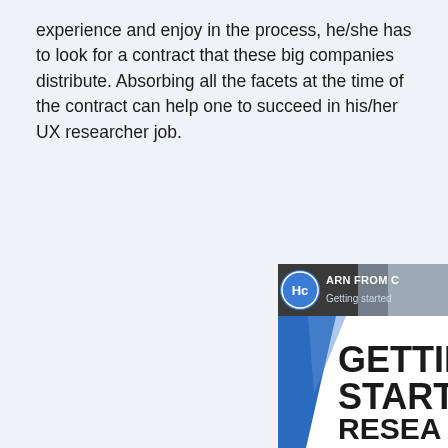experience and enjoy in the process, he/she has to look for a contract that these big companies distribute. Absorbing all the facets at the time of the contract can help one to succeed in his/her UX researcher job.
[Figure (illustration): Partially visible book or course cover showing 'LEARN FROM C... Getting Started' banner at top with HC logo, a blue diagonal design element, and large bold text reading 'GETTING STARTED RESEA... IN A BIG' on white background]